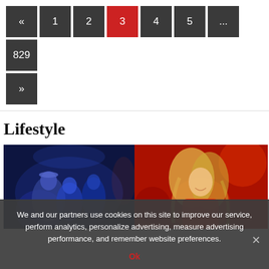« 1 2 3 4 5 ... 829 »
Lifestyle
[Figure (photo): Two-panel image: left panel shows performers on stage under blue lighting; right panel shows a blonde woman in a red outfit smiling.]
We and our partners use cookies on this site to improve our service, perform analytics, personalize advertising, measure advertising performance, and remember website preferences.